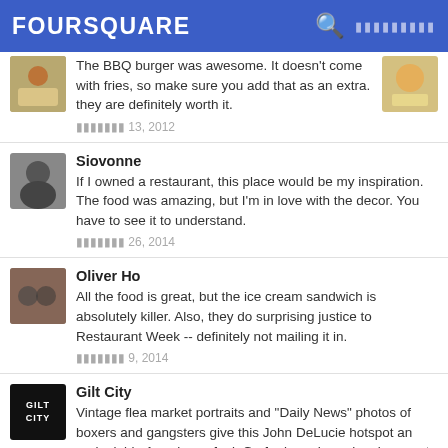FOURSQUARE
The BBQ burger was awesome. It doesn't come with fries, so make sure you add that as an extra. they are definitely worth it.
[date] 13, 2012
Siovonne
If I owned a restaurant, this place would be my inspiration. The food was amazing, but I'm in love with the decor. You have to see it to understand.
[date] 26, 2014
Oliver Ho
All the food is great, but the ice cream sandwich is absolutely killer. Also, they do surprising justice to Restaurant Week -- definitely not mailing it in.
[date] 9, 2014
Gilt City
Vintage flea market portraits and "Daily News" photos of boxers and gangsters give this John DeLucie hotspot an undeniable Americana feel. Go for brunch, and make sure to order the truffled baguette.
[date] 1, 2011